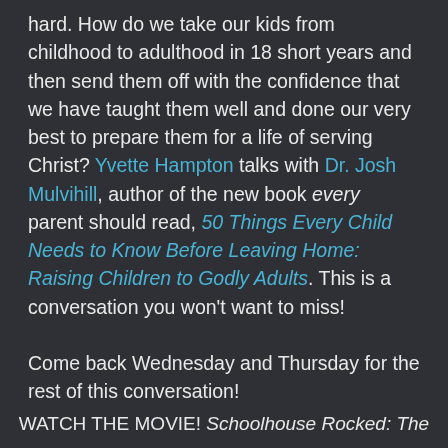hard. How do we take our kids from childhood to adulthood in 18 short years and then send them off with the confidence that we have taught them well and done our very best to prepare them for a life of serving Christ? Yvette Hampton talks with Dr. Josh Mulvihill, author of the new book every parent should read, 50 Things Every Child Needs to Know Before Leaving Home: Raising Children to Godly Adults. This is a conversation you won't want to miss!
Come back Wednesday and Thursday for the rest of this conversation!
WATCH THE MOVIE! Schoolhouse Rocked: The